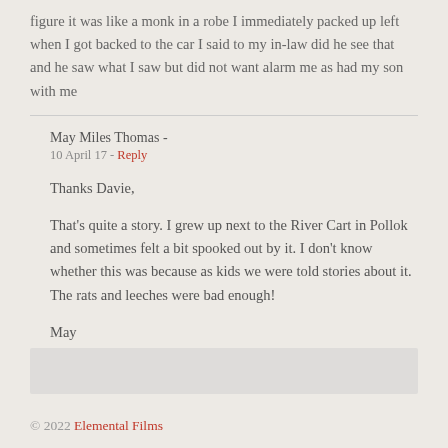figure it was like a monk in a robe I immediately packed up left when I got backed to the car I said to my in-law did he see that and he saw what I saw but did not want alarm me as had my son with me
May Miles Thomas -
10 April 17 - Reply
Thanks Davie,
That's quite a story. I grew up next to the River Cart in Pollok and sometimes felt a bit spooked out by it. I don't know whether this was because as kids we were told stories about it. The rats and leeches were bad enough!
May
© 2022 Elemental Films